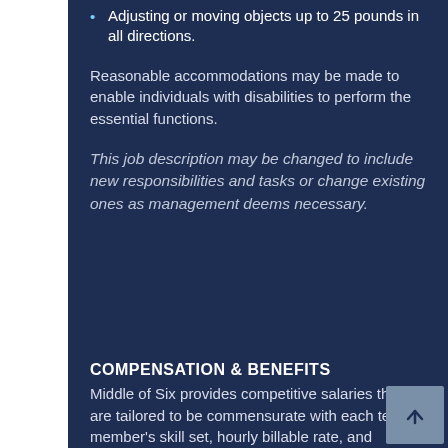Adjusting or moving objects up to 25 pounds in all directions.
Reasonable accommodations may be made to enable individuals with disabilities to perform the essential functions.
This job description may be changed to include new responsibilities and tasks or change existing ones as management deems necessary.
COMPENSATION & BENEFITS
Middle of Six provides competitive salaries that are tailored to be commensurate with each team member's skill set, hourly billable rate, and